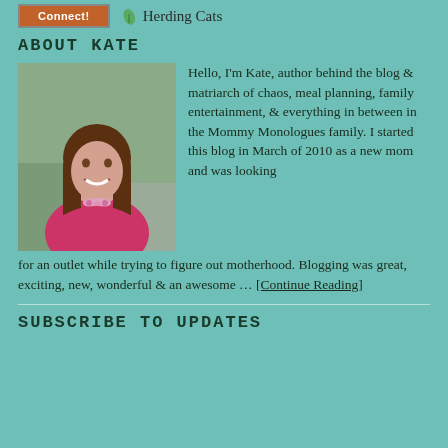[Figure (logo): Connect button (orange/brown) and Herding Cats text with leaf icon]
ABOUT KATE
[Figure (photo): Photo of Kate, a woman with long brown hair wearing a pink/red top with a floral necklace, smiling at the camera]
Hello, I'm Kate, author behind the blog & matriarch of chaos, meal planning, family entertainment, & everything in between in the Mommy Monologues family. I started this blog in March of 2010 as a new mom and was looking for an outlet while trying to figure out motherhood. Blogging was great, exciting, new, wonderful & an awesome ... [Continue Reading]
SUBSCRIBE TO UPDATES